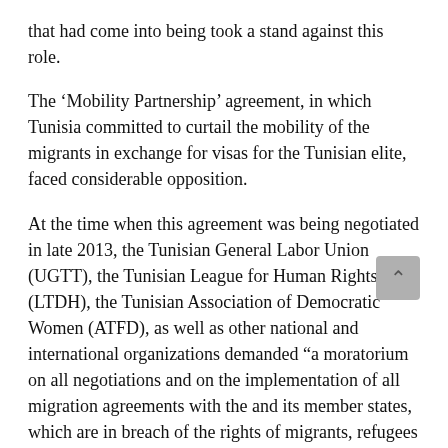that had come into being took a stand against this role.
The ‘Mobility Partnership’ agreement, in which Tunisia committed to curtail the mobility of the migrants in exchange for visas for the Tunisian elite, faced considerable opposition.
At the time when this agreement was being negotiated in late 2013, the Tunisian General Labor Union (UGTT), the Tunisian League for Human Rights (LTDH), the Tunisian Association of Democratic Women (ATFD), as well as other national and international organizations demanded “a moratorium on all negotiations and on the implementation of all migration agreements with th… and its member states, which are in breach of the rights of migrants, refugees and asylum seekers and which are inconsistent with the international treaties ratified by Tunisia and EU member states.”
Addressing the EU, their joint statement further